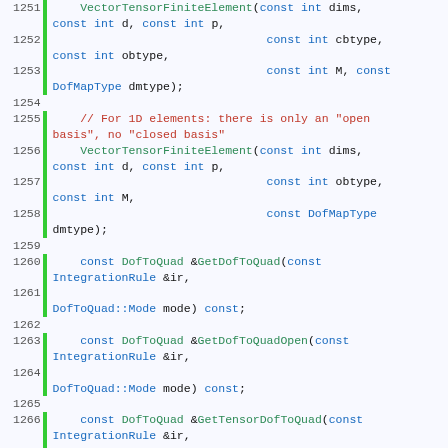[Figure (screenshot): Source code listing lines 1251-1271 showing C++ class VectorTensorFiniteElement declarations with syntax highlighting. Line numbers in gray on left, green bar indicator, code in blue/green/red/black.]